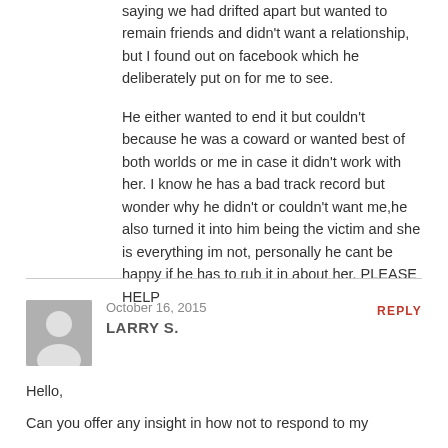saying we had drifted apart but wanted to remain friends and didn't want a relationship, but I found out on facebook which he deliberately put on for me to see.
He either wanted to end it but couldn't because he was a coward or wanted best of both worlds or me in case it didn't work with her. I know he has a bad track record but wonder why he didn't or couldn't want me,he also turned it into him being the victim and she is everything im not, personally he cant be happy if he has to rub it in about her. PLEASE HELP
October 16, 2015
LARRY S.
Hello,
Can you offer any insight in how not to respond to my ex's injustice if i see on? I know how to remain indifferent